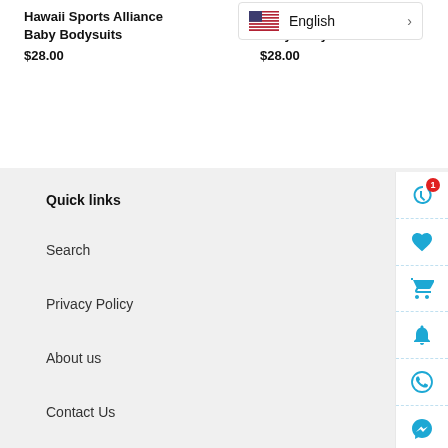Hawaii Sports Alliance Baby Bodysuits $28.00
Hawaii Sports Alliance Baby Bodysuits $28.00
[Figure (screenshot): Language selector overlay showing US flag and English with right arrow]
Quick links
Search
Privacy Policy
About us
Contact Us
[Figure (infographic): Right sidebar with 6 icons: history (with badge 1), heart, shopping cart, bell, WhatsApp, Messenger]